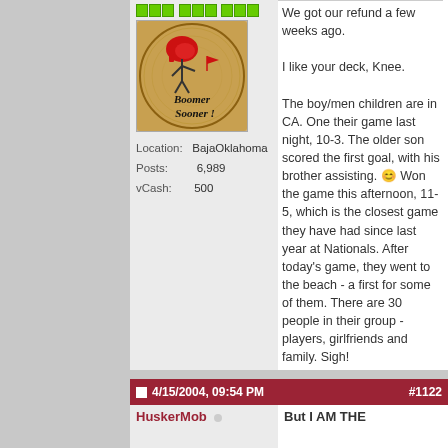[Figure (photo): Circular wooden plaque with 'Boomer Sooner!' text and football player illustration]
Location: BajaOklahoma
Posts: 6,989
vCash: 500
We got our refund a few weeks ago.

I like your deck, Knee.

The boy/men children are in CA. One their game last night, 10-3. The older son scored the first goal, with his brother assisting. 😊 Won the game this afternoon, 11-5, which is the closest game they have had since last year at Nationals. After today's game, they went to the beach - a first for some of them. There are 30 people in their group - players, girlfriends and family. Sigh!
And the MCL is (knock on wood please) holding up well.
4/15/2004, 09:54 PM  #1122
HuskerMob
But I AM THE